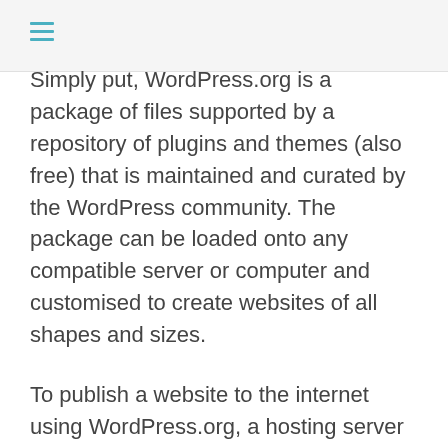≡
Simply put, WordPress.org is a package of files supported by a repository of plugins and themes (also free) that is maintained and curated by the WordPress community. The package can be loaded onto any compatible server or computer and customised to create websites of all shapes and sizes.
To publish a website to the internet using WordPress.org, a hosting server and domain name are required.
WordPress.com
WordPress is a platform for self-publishing